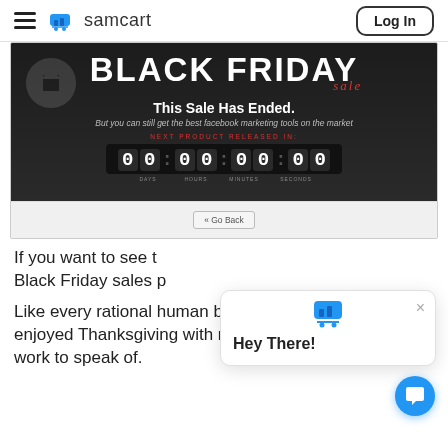samcart  Log In
[Figure (screenshot): Black Friday sale page screenshot showing 'BLACK FRIDAY sale' heading, 'This Sale Has Ended.' message, 'But you can still get the best facebook marketing tools on the market' subtext, a countdown timer showing 00:00:00:00, and a 'Go Back' button]
[Figure (screenshot): Chat popup widget with samcart logo icon at top, X close button, and 'Hey There!' greeting text]
If you want to see t Black Friday sales p
Like every rational human being should, I enjoyed Thanksgiving with my family with work to speak of.